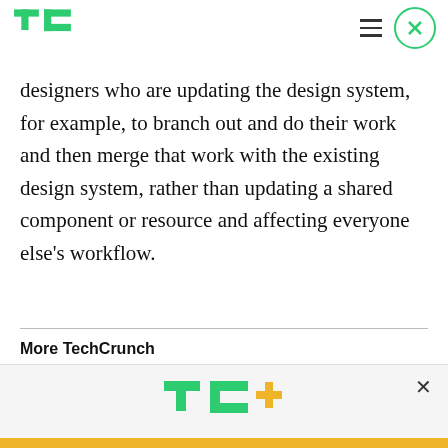TechCrunch logo, hamburger menu, close button
designers who are updating the design system, for example, to branch out and do their work and then merge that work with the existing design system, rather than updating a shared component or resource and affecting everyone else's workflow.
More TechCrunch
[Figure (logo): TC+ logo — TechCrunch plus sign logo in green and yellow]
Celebrate Labor Day: Subscribe TechCrunch+ Today Only for $90/Year.
GET OFFER NOW